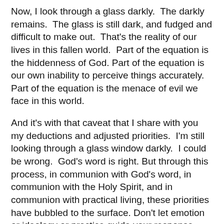Now, I look through a glass darkly.  The darkly remains.  The glass is still dark, and fudged and difficult to make out.  That's the reality of our lives in this fallen world.  Part of the equation is the hiddenness of God. Part of the equation is our own inability to perceive things accurately. Part of the equation is the menace of evil we face in this world.
And it's with that caveat that I share with you my deductions and adjusted priorities.  I'm still looking through a glass window darkly.  I could be wrong.  God's word is right. But through this process, in communion with God's word, in communion with the Holy Spirit, and in communion with practical living, these priorities have bubbled to the surface. Don't let emotion or ideology or practice guide your response.  But God's word properly balanced.
1. Evangelism is the First Responsibility of the Church.  Sharing the gospel, fulfilling the great